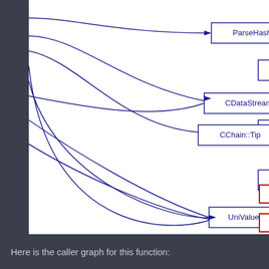[Figure (flowchart): Caller graph showing function call relationships. Nodes: ParseHashStr, CDataStream::str, CChain::Tip, UniValue::write, and partially visible nodes on the right (with blue outlines for most, red outlines for bottom-right nodes). Directed edges drawn as curved arrows from left-side source to each node, and from several nodes to partially visible right-side nodes.]
Here is the caller graph for this function: